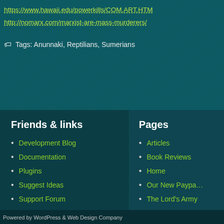https://www.hawaii.edu/powerkills/COM.ART.HTM
http://nomarx.com/marxist-are-mass-murderers/
Tags: Anunnaki, Reptilians, Sumerians
Friends & links
Development Blog
Documentation
Plugins
Suggest Ideas
Support Forum
Themes
WordPress Planet
Pages
Articles
Book Reviews
Home
Our New Paypa…
The Lord's Army
Powered by WordPress & Web Design Company